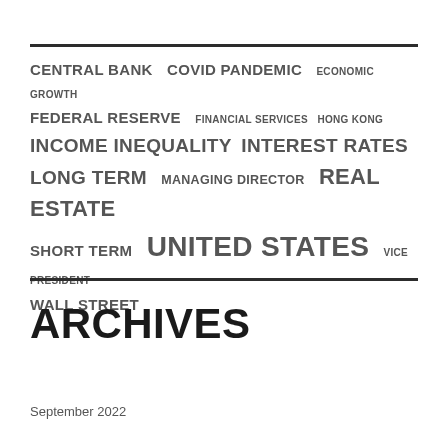[Figure (infographic): Tag cloud with finance-related keywords in varying font sizes: CENTRAL BANK, COVID PANDEMIC, ECONOMIC GROWTH, FEDERAL RESERVE, FINANCIAL SERVICES, HONG KONG, INCOME INEQUALITY, INTEREST RATES, LONG TERM, MANAGING DIRECTOR, REAL ESTATE, SHORT TERM, UNITED STATES, VICE PRESIDENT, WALL STREET]
ARCHIVES
September 2022